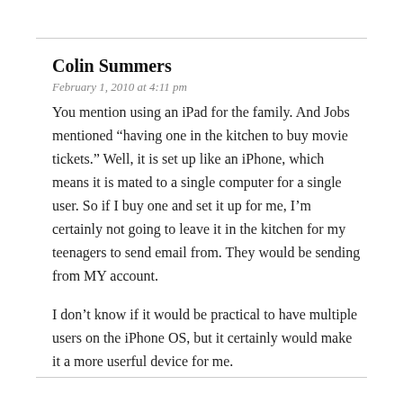Colin Summers
February 1, 2010 at 4:11 pm
You mention using an iPad for the family. And Jobs mentioned “having one in the kitchen to buy movie tickets.” Well, it is set up like an iPhone, which means it is mated to a single computer for a single user. So if I buy one and set it up for me, I’m certainly not going to leave it in the kitchen for my teenagers to send email from. They would be sending from MY account.
I don’t know if it would be practical to have multiple users on the iPhone OS, but it certainly would make it a more userful device for me.